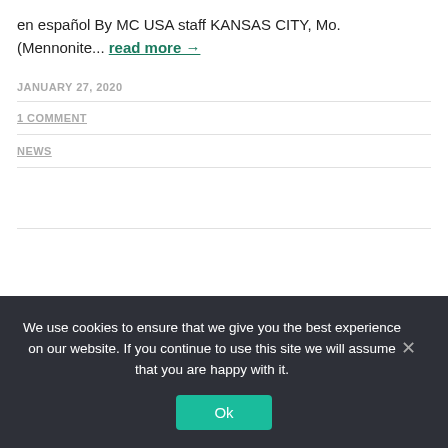en español By MC USA staff KANSAS CITY, Mo. (Mennonite... read more →
JANUARY 27, 2020
1 COMMENT
NEWS
We use cookies to ensure that we give you the best experience on our website. If you continue to use this site we will assume that you are happy with it.